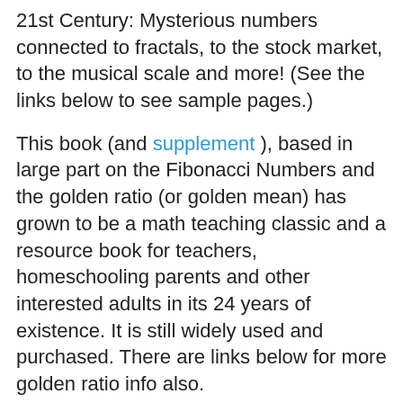21st Century: Mysterious numbers connected to fractals, to the stock market, to the musical scale and more! (See the links below to see sample pages.)
This book (and supplement), based in large part on the Fibonacci Numbers and the golden ratio (or golden mean) has grown to be a math teaching classic and a resource book for teachers, homeschooling parents and other interested adults in its 24 years of existence. It is still widely used and purchased. There are links below for more golden ratio info also.
Here is an informative review of two of Mark's books, the second is the Mystery Tour (with it's earlier cover):